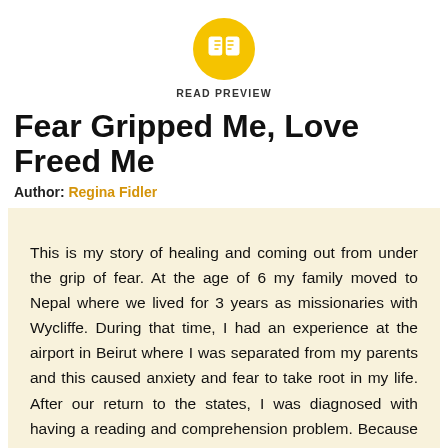[Figure (logo): Orange/yellow circle with a white open book icon in the center, above the text READ PREVIEW]
READ PREVIEW
Fear Gripped Me, Love Freed Me
Author: Regina Fidler
This is my story of healing and coming out from under the grip of fear. At the age of 6 my family moved to Nepal where we lived for 3 years as missionaries with Wycliffe. During that time, I had an experience at the airport in Beirut where I was separated from my parents and this caused anxiety and fear to take root in my life. After our return to the states, I was diagnosed with having a reading and comprehension problem. Because of this, I suffered tremendous teasing from fellow classmates during my elementary years. This brought insecurities, feelings of failure and deep